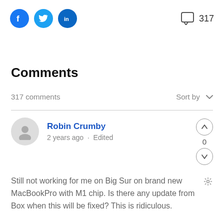[Figure (illustration): Social media share icons: Facebook (blue circle with f), Twitter (blue circle with bird), LinkedIn (blue circle with in), and a comment bubble icon with count 317]
Comments
317 comments    Sort by
Robin Crumby
2 years ago · Edited
Still not working for me on Big Sur on brand new MacBookPro with M1 chip. Is there any update from Box when this will be fixed? This is ridiculous.